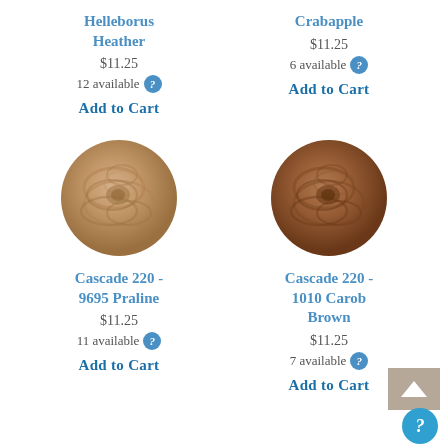Helleborus Heather
$11.25
12 available
Add to Cart
Crabapple
$11.25
6 available
Add to Cart
[Figure (photo): Skein of light tan/praline colored yarn wound into a ball]
Cascade 220 - 9695 Praline
$11.25
11 available
Add to Cart
[Figure (photo): Skein of carob brown colored yarn wound into a ball]
Cascade 220 - 1010 Carob Brown
$11.25
7 available
Add to Cart